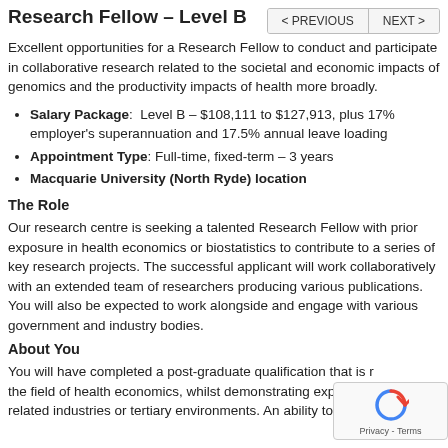Research Fellow – Level B
Excellent opportunities for a Research Fellow to conduct and participate in collaborative research related to the societal and economic impacts of genomics and the productivity impacts of health more broadly.
Salary Package: Level B – $108,111 to $127,913, plus 17% employer's superannuation and 17.5% annual leave loading
Appointment Type: Full-time, fixed-term – 3 years
Macquarie University (North Ryde) location
The Role
Our research centre is seeking a talented Research Fellow with prior exposure in health economics or biostatistics to contribute to a series of key research projects. The successful applicant will work collaboratively with an extended team of researchers producing various publications. You will also be expected to work alongside and engage with various government and industry bodies.
About You
You will have completed a post-graduate qualification that is relevant to the field of health economics, whilst demonstrating experience in health-related industries or tertiary environments. An ability to apply